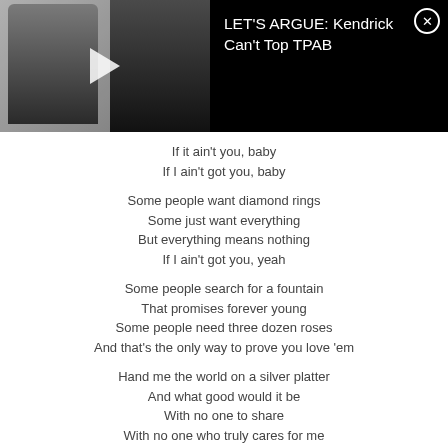[Figure (screenshot): Video thumbnail showing a rapper on the left and a YouTuber on the right, with a play button overlay. Black banner on right shows video title.]
LET'S ARGUE: Kendrick Can't Top TPAB
If it ain't you, baby
If I ain't got you, baby
Some people want diamond rings
Some just want everything
But everything means nothing
If I ain't got you, yeah
Some people search for a fountain
That promises forever young
Some people need three dozen roses
And that's the only way to prove you love 'em
Hand me the world on a silver platter
And what good would it be
With no one to share
With no one who truly cares for me